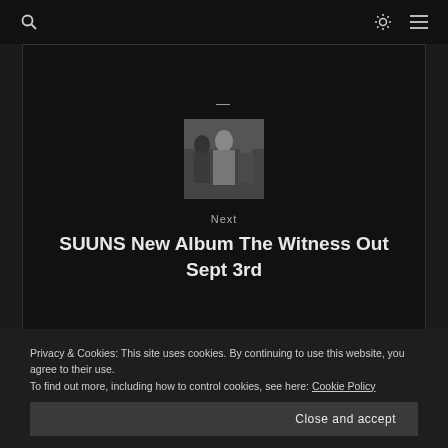Search | Brightness | Menu
[Figure (photo): Band photo: three people standing, black and white/grayscale image]
Next
SUUNS New Album The Witness Out Sept 3rd
Privacy & Cookies: This site uses cookies. By continuing to use this website, you agree to their use.
To find out more, including how to control cookies, see here: Cookie Policy
Close and accept